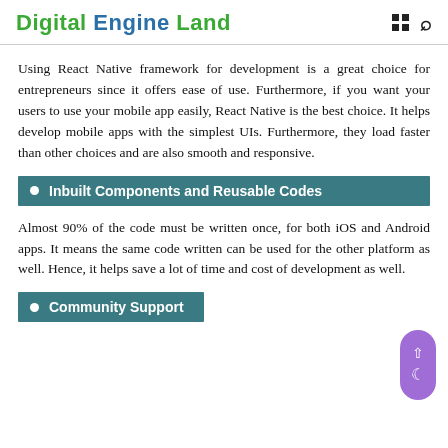Digital Engine Land
Using React Native framework for development is a great choice for entrepreneurs since it offers ease of use. Furthermore, if you want your users to use your mobile app easily, React Native is the best choice. It helps develop mobile apps with the simplest UIs. Furthermore, they load faster than other choices and are also smooth and responsive.
Inbuilt Components and Reusable Codes
Almost 90% of the code must be written once, for both iOS and Android apps. It means the same code written can be used for the other platform as well. Hence, it helps save a lot of time and cost of development as well.
Community Support